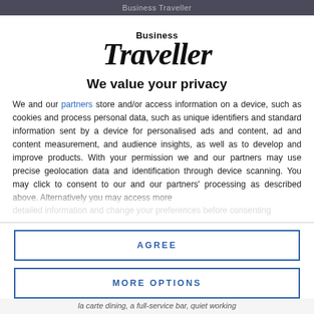Business Traveller
[Figure (logo): Business Traveller magazine logo — 'Business' in small bold sans-serif above 'Traveller' in large bold serif italic]
We value your privacy
We and our partners store and/or access information on a device, such as cookies and process personal data, such as unique identifiers and standard information sent by a device for personalised ads and content, ad and content measurement, and audience insights, as well as to develop and improve products. With your permission we and our partners may use precise geolocation data and identification through device scanning. You may click to consent to our and our partners' processing as described above. Alternatively you may access more detailed information...
AGREE
MORE OPTIONS
la carte dining, a full-service bar, quiet working